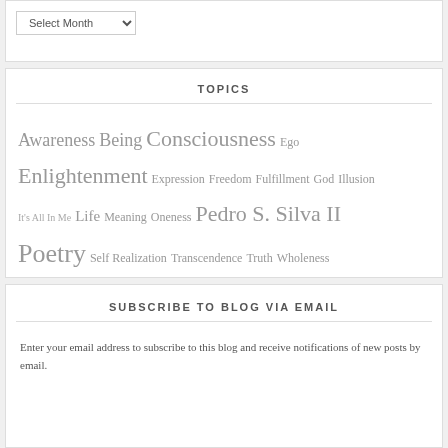Select Month (dropdown)
TOPICS
Awareness Being Consciousness Ego Enlightenment Expression Freedom Fulfillment God Illusion It's All In Me Life Meaning Oneness Pedro S. Silva II Poetry Self Realization Transcendence Truth Wholeness
SUBSCRIBE TO BLOG VIA EMAIL
Enter your email address to subscribe to this blog and receive notifications of new posts by email.